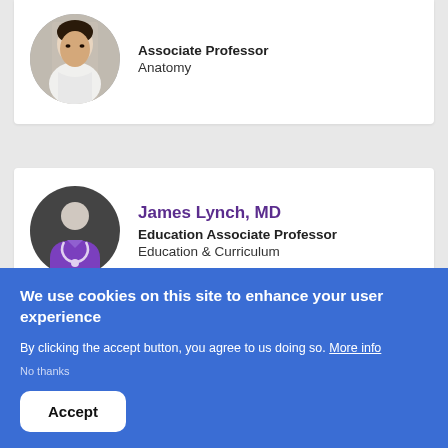[Figure (photo): Partial profile card: circular photo of an Asian male professor in a lab setting]
Associate Professor
Anatomy
[Figure (illustration): Generic doctor placeholder avatar: dark circle with white silhouette head and purple doctor torso with stethoscope]
James Lynch, MD
Education Associate Professor
Education & Curriculum
We use cookies on this site to enhance your user experience
By clicking the accept button, you agree to us doing so. More info
No thanks
Accept